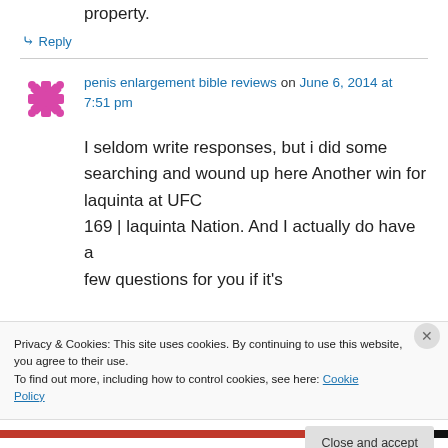property.
↳ Reply
penis enlargement bible reviews on June 6, 2014 at 7:51 pm
I seldom write responses, but i did some searching and wound up here Another win for laquinta at UFC 169 | laquinta Nation. And I actually do have a few questions for you if it's
Privacy & Cookies: This site uses cookies. By continuing to use this website, you agree to their use.
To find out more, including how to control cookies, see here: Cookie Policy
Close and accept